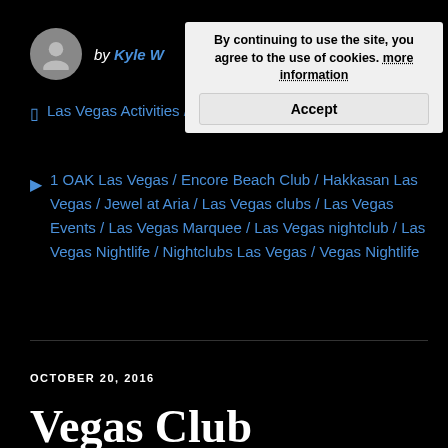by Kyle W...
By continuing to use the site, you agree to the use of cookies. more information
Accept
Las Vegas Activities / ... / Las Vegas Nightclubs
1 OAK Las Vegas / Encore Beach Club / Hakkasan Las Vegas / Jewel at Aria / Las Vegas clubs / Las Vegas Events / Las Vegas Marquee / Las Vegas nightclub / Las Vegas Nightlife / Nightclubs Las Vegas / Vegas Nightlife
OCTOBER 20, 2016
Vegas Club Calendar Oct